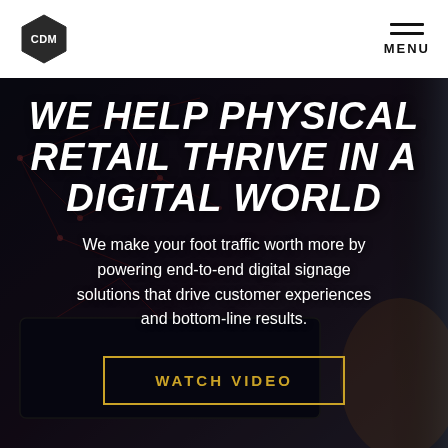CDM | MENU
WE HELP PHYSICAL RETAIL THRIVE IN A DIGITAL WORLD
We make your foot traffic worth more by powering end-to-end digital signage solutions that drive customer experiences and bottom-line results.
WATCH VIDEO